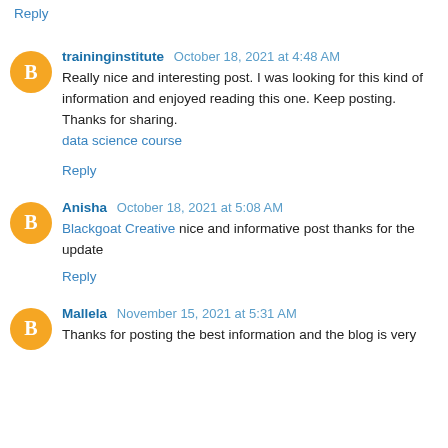Reply
traininginstitute October 18, 2021 at 4:48 AM
Really nice and interesting post. I was looking for this kind of information and enjoyed reading this one. Keep posting. Thanks for sharing.
data science course
Reply
Anisha October 18, 2021 at 5:08 AM
Blackgoat Creative nice and informative post thanks for the update
Reply
Mallela November 15, 2021 at 5:31 AM
Thanks for posting the best information and the blog is very...